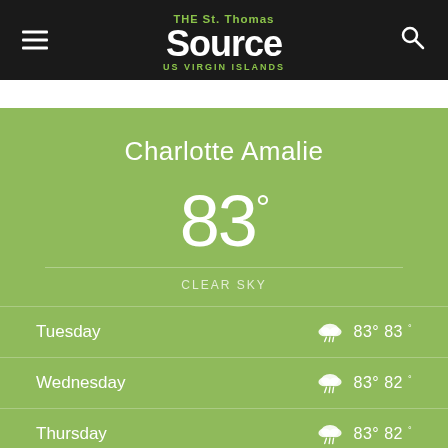THE St. Thomas Source US VIRGIN ISLANDS
Charlotte Amalie
83°
CLEAR SKY
| Day | Icon | High | Low |
| --- | --- | --- | --- |
| Tuesday | cloud/wind | 83° | 83° |
| Wednesday | cloud/rain | 83° | 82° |
| Thursday | cloud/rain | 83° | 82° |
| Friday | cloud/rain | 83° | 82° |